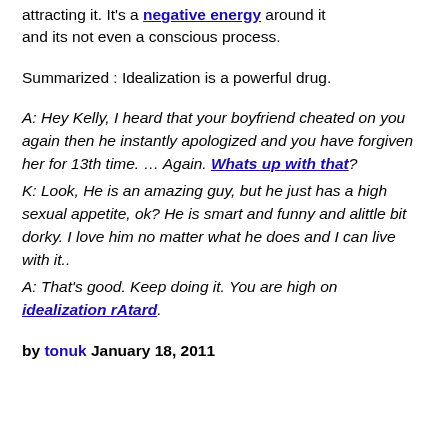attracting it. It's a negative energy around it and its not even a conscious process.
Summarized : Idealization is a powerful drug.
A: Hey Kelly, I heard that your boyfriend cheated on you again then he instantly apologized and you have forgiven her for 13th time. … Again. Whats up with that?
K: Look, He is an amazing guy, but he just has a high sexual appetite, ok? He is smart and funny and alittle bit dorky. I love him no matter what he does and I can live with it..
A: That's good. Keep doing it. You are high on idealization rAtard.
by tonuk January 18, 2011